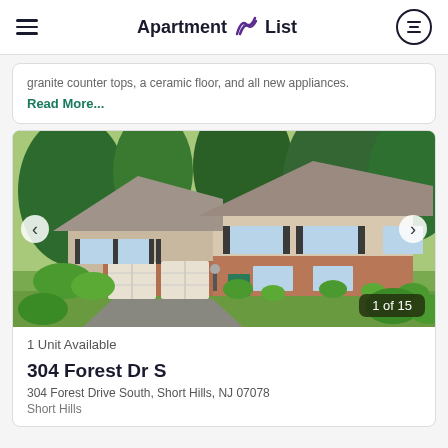Apartment List
granite counter tops, a ceramic floor, and all new appliances.
Read More...
[Figure (photo): Exterior photo of a two-story colonial-style house with brick base, white upper siding, two-car garage, driveway, and lush green trees in the background. Image counter shows 1 of 15.]
1 Unit Available
304 Forest Dr S
304 Forest Drive South, Short Hills, NJ 07078
Short Hills